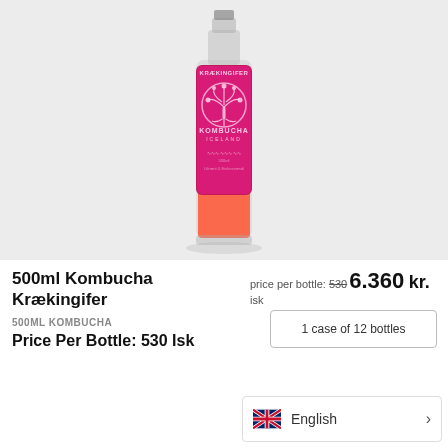[Figure (photo): A bottle of 500ml Kombucha Krækingifer with a magenta/pink label featuring a tree of life logo and 'KOMBUCHA ICELAND' text, photographed against a light grey background. The bottle contains orange-red liquid.]
500ml Kombucha Krækingifer
price per bottle: 530 6.360 kr. isk
500ML KOMBUCHA
Price Per Bottle: 530 Isk
1 case of 12 bottles
English